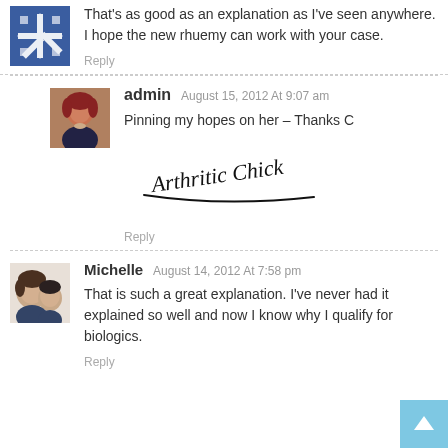That's as good as an explanation as I've seen anywhere. I hope the new rhuemy can work with your case.
Reply
admin August 15, 2012 At 9:07 am
Pinning my hopes on her – Thanks C
[Figure (illustration): Handwritten signature reading 'Arthritic Chick' with a decorative underline]
Reply
Michelle August 14, 2012 At 7:58 pm
That is such a great explanation. I've never had it explained so well and now I know why I qualify for biologics.
Reply